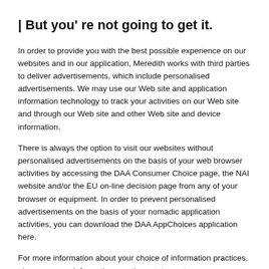| But you' re not going to get it.
In order to provide you with the best possible experience on our websites and in our application, Meredith works with third parties to deliver advertisements, which include personalised advertisements. We may use our Web site and application information technology to track your activities on our Web site and through our Web site and other Web site and device information.
There is always the option to visit our websites without personalised advertisements on the basis of your web browser activities by accessing the DAA Consumer Choice page, the NAI website and/or the EU on-line decision page from any of your browser or equipment. In order to prevent personalised advertisements on the basis of your nomadic application activities, you can download the DAA AppChoices application here.
For more information about your choice of information practices, please see our information practices statement.